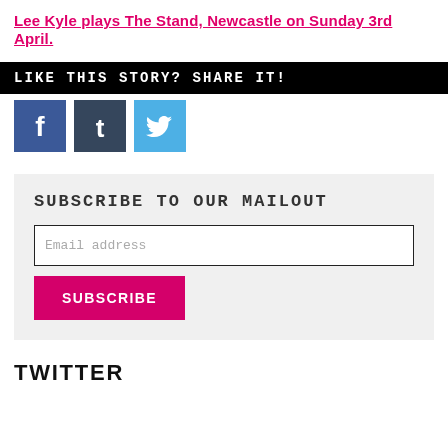Lee Kyle plays The Stand, Newcastle on Sunday 3rd April.
LIKE THIS STORY? SHARE IT!
[Figure (infographic): Social media share icons: Facebook (blue), Tumblr (dark blue), Twitter (light blue)]
SUBSCRIBE TO OUR MAILOUT
Email address
SUBSCRIBE
TWITTER